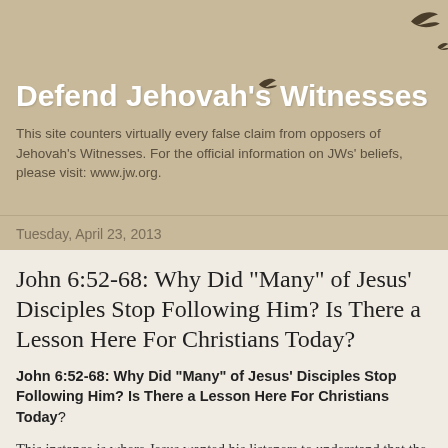Defend Jehovah's Witnesses
This site counters virtually every false claim from opposers of Jehovah's Witnesses. For the official information on JWs' beliefs, please visit: www.jw.org.
Tuesday, April 23, 2013
John 6:52-68: Why Did "Many" of Jesus' Disciples Stop Following Him? Is There a Lesson Here For Christians Today?
John 6:52-68: Why Did "Many" of Jesus' Disciples Stop Following Him? Is There a Lesson Here For Christians Today?
This instance is where Jesus wanted his listeners to understand that the eating of his flesh and drinking his blood